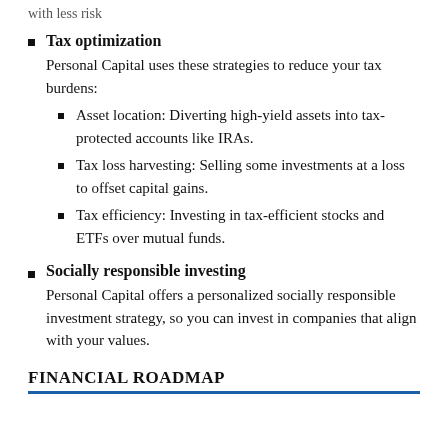with less risk
Tax optimization
Personal Capital uses these strategies to reduce your tax burdens:
Asset location: Diverting high-yield assets into tax-protected accounts like IRAs.
Tax loss harvesting: Selling some investments at a loss to offset capital gains.
Tax efficiency: Investing in tax-efficient stocks and ETFs over mutual funds.
Socially responsible investing
Personal Capital offers a personalized socially responsible investment strategy, so you can invest in companies that align with your values.
FINANCIAL ROADMAP